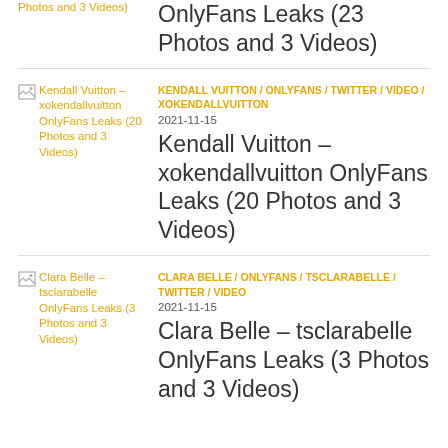OnlyFans Leaks (23 Photos and 3 Videos)
KENDALL VUITTON / ONLYFANS / TWITTER / VIDEO / XOKENDALLVUITTON
2021-11-15
Kendall Vuitton – xokendallvuitton OnlyFans Leaks (20 Photos and 3 Videos)
CLARA BELLE / ONLYFANS / TSCLARABELLE / TWITTER / VIDEO
2021-11-15
Clara Belle – tsclarabelle OnlyFans Leaks (3 Photos and 3 Videos)